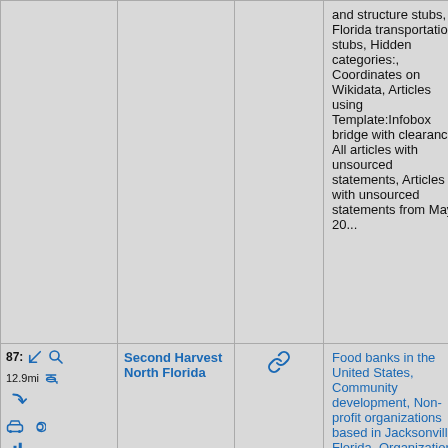|  |  |  | Categories |  |
| --- | --- | --- | --- | --- |
| (icons) |  | (link icon) | and structure stubs, Florida transportation stubs, Hidden categories:, Coordinates on Wikidata, Articles using Template:Infobox bridge with clearance, All articles with unsourced statements, Articles with unsourced statements from May 20... |  |
| 87: 12.9mi (icons) | Second Harvest North Florida | (link icon) | Food banks in the United States, Community development, Non-profit organizations based in Jacksonville, Florida, Organizations established in 1979, 1979 establishm-ents in Florida... |  |